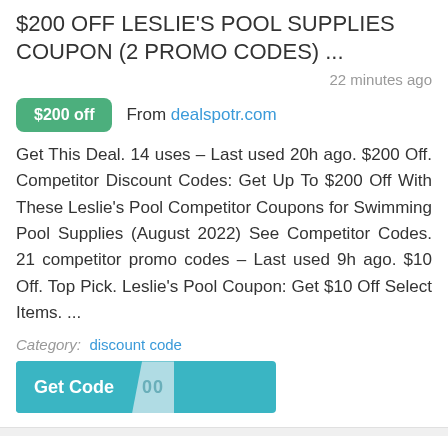$200 OFF LESLIE'S POOL SUPPLIES COUPON (2 PROMO CODES) ...
22 minutes ago
$200 off  From dealspotr.com
Get This Deal. 14 uses – Last used 20h ago. $200 Off. Competitor Discount Codes: Get Up To $200 Off With These Leslie's Pool Competitor Coupons for Swimming Pool Supplies (August 2022) See Competitor Codes. 21 competitor promo codes – Last used 9h ago. $10 Off. Top Pick. Leslie's Pool Coupon: Get $10 Off Select Items. ...
Category:  discount code
Get Code  00
BOOST COUPON FOR CANADA ~ SAVE $4. OFF BOOST